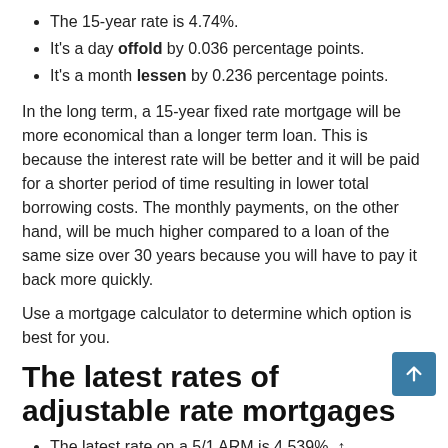The 15-year rate is 4.74%.
It's a day offold by 0.036 percentage points.
It's a month lessen by 0.236 percentage points.
In the long term, a 15-year fixed rate mortgage will be more economical than a longer term loan. This is because the interest rate will be better and it will be paid for a shorter period of time resulting in lower total borrowing costs. The monthly payments, on the other hand, will be much higher compared to a loan of the same size over 30 years because you will have to pay it back more quickly.
Use a mortgage calculator to determine which option is best for you.
The latest rates of adjustable rate mortgages
The latest rate on a 5/1 ARM is 4.539%. ↑